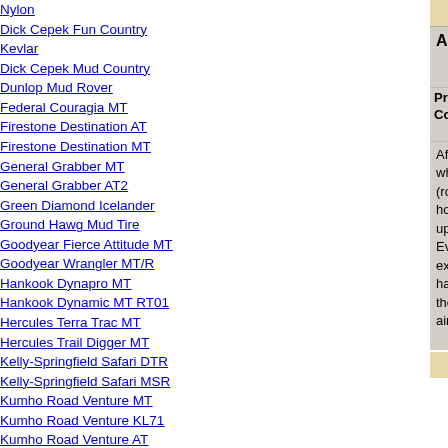Nylon
Dick Cepek Fun Country Kevlar
Dick Cepek Mud Country
Dunlop Mud Rover
Federal Couragia MT
Firestone Destination AT
Firestone Destination MT
General Grabber MT
General Grabber AT2
Green Diamond Icelander
Ground Hawg Mud Tire
Goodyear Fierce Attitude MT
Goodyear Wrangler MT/R
Hankook Dynapro MT
Hankook Dynamic MT RT01
Hercules Terra Trac MT
Hercules Trail Digger MT
Kelly-Springfield Safari DTR
Kelly-Springfield Safari MSR
Kumho Road Venture MT
Kumho Road Venture KL71
Kumho Road Venture AT
Mastercraft Courser MT
Mastercraft Courser HTR
Mastercraft Courser HTR Plus
Maxxis Creepy Crawler
Maxxis Trepador
Maxxis BigHorn Radial
Maxxis Buckshot Mudder
Maxxis MA-SW
Anonymous
Review Date: February 9,
Pros: goo
Cons: take com
After gettin while a frie (round). N hold it on a up. Withou Even if I u exhaust h having to h the exhaus air compre